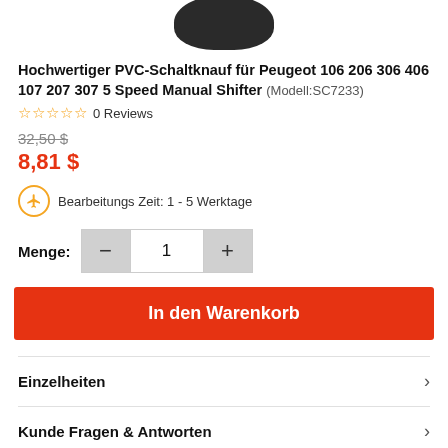[Figure (photo): Partial view of a dark/black gear shift knob product image, cropped at top]
Hochwertiger PVC-Schaltknauf für Peugeot 106 206 306 406 107 207 307 5 Speed Manual Shifter (Modell:SC7233)
0 Reviews
32,50 $
8,81 $
Bearbeitungs Zeit: 1 - 5 Werktage
Menge: 1
In den Warenkorb
Einzelheiten
Kunde Fragen & Antworten